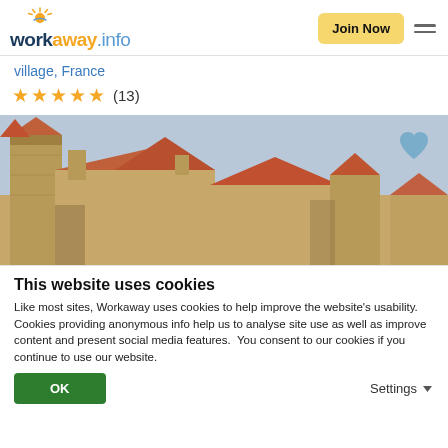workaway.info — Join Now
village, France
★★★★★ (13)
[Figure (photo): Photo of a French village with terracotta-roofed stone buildings and towers under a pale blue sky. A blue heart/favorite icon is in the top right corner of the image.]
This website uses cookies
Like most sites, Workaway uses cookies to help improve the website's usability. Cookies providing anonymous info help us to analyse site use as well as improve content and present social media features.  You consent to our cookies if you continue to use our website.
OK   Settings